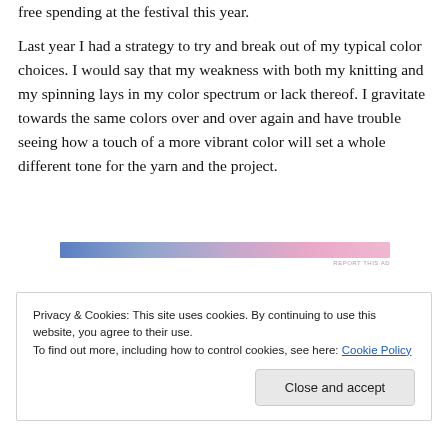free spending at the festival this year.
Last year I had a strategy to try and break out of my typical color choices. I would say that my weakness with both my knitting and my spinning lays in my color spectrum or lack thereof. I gravitate towards the same colors over and over again and have trouble seeing how a touch of a more vibrant color will set a whole different tone for the yarn and the project.
[Figure (other): Horizontal gradient banner ad running from blue on the left through lavender to pink on the right, with 'REPORT THIS AD' text in small caps at the right end]
Privacy & Cookies: This site uses cookies. By continuing to use this website, you agree to their use.
To find out more, including how to control cookies, see here: Cookie Policy
Close and accept